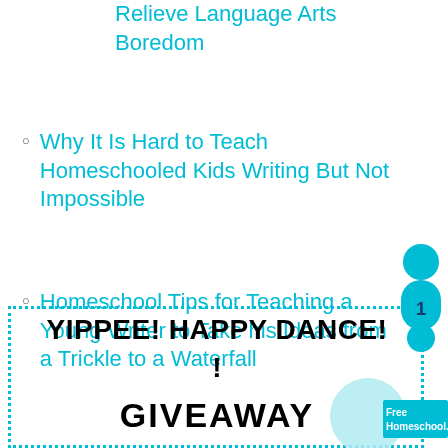Relieve Language Arts Boredom
Why It Is Hard to Teach Homeschooled Kids Writing But Not Impossible
Homeschool Tips for Teaching a Young Writer to Take his Ideas from a Trickle to a Waterfall
YIPPEE! HAPPY DANCE!!
GIVEAWAY